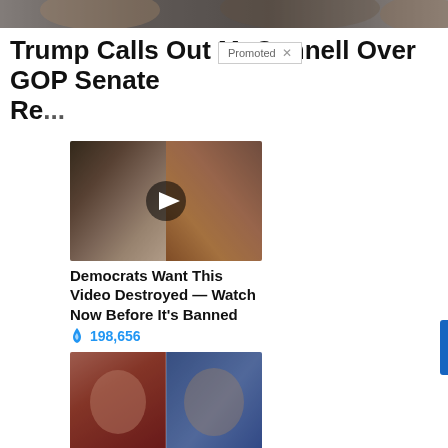[Figure (photo): Cropped top image showing people in the background, partially visible]
Trump Calls Out McConnell Over GOP Senate Re...
[Figure (photo): Promoted ad thumbnail showing Melania and Donald Trump with a video play button overlay]
Democrats Want This Video Destroyed — Watch Now Before It's Banned
🔥 198,656
[Figure (photo): Promoted ad thumbnail showing two people side by side: a red-haired woman and Donald Trump]
Most Americans Don't Know These Facts About White House Press Secretary Jen Psaki
🔥 12,630